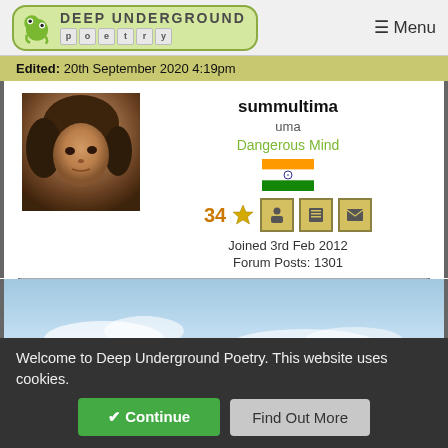Deep Underground Poetry  ☰ Menu
Edited: 20th September 2020 4:19pm
[Figure (photo): Profile photo of a young woman with dark wavy hair, warm-toned sepia-like photo]
summultima
uma
Dangerous Mind
34 ★
Joined 3rd Feb 2012
Forum Posts: 1301
[Figure (photo): Light blue sky with clouds, bottom portion of a landscape photograph]
Welcome to Deep Underground Poetry. This website uses cookies.
✔ Continue   Find Out More